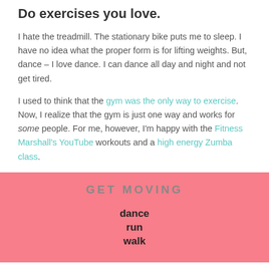Do exercises you love.
I hate the treadmill. The stationary bike puts me to sleep. I have no idea what the proper form is for lifting weights. But, dance – I love dance. I can dance all day and night and not get tired.
I used to think that the gym was the only way to exercise. Now, I realize that the gym is just one way and works for some people. For me, however, I'm happy with the Fitness Marshall's YouTube workouts and a high energy Zumba class.
[Figure (infographic): Pink background infographic with 'GET MOVING' header in gray letter-spaced text, followed by stacked bold words: dance, run, walk (partially visible)]